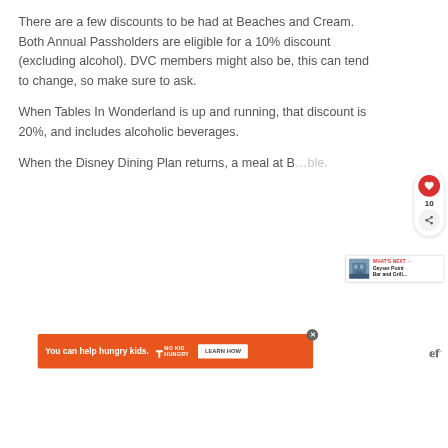There are a few discounts to be had at Beaches and Cream. Both Annual Passholders are eligible for a 10% discount (excluding alcohol). DVC members might also be, this can tend to change, so make sure to ask.
When Tables In Wonderland is up and running, that discount is 20%, and includes alcoholic beverages.
When the Disney Dining Plan returns, a meal at B…ble.
[Figure (other): Social widget with red heart button showing count 10 and share button]
[Figure (other): What's Next widget showing Geyser Point Bar and Grill with building photo]
[Figure (other): Advertisement banner: You can help hungry kids. No Kid Hungry. LEARN HOW. With close button.]